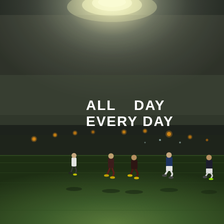[Figure (photo): Night-time outdoor soccer/football field under a bright floodlight. The top of the image shows a powerful white light source shining down from above, illuminating a dark, misty sky. In the middle section, orange/amber street or perimeter lights dot the background horizon. In the lower portion, five soccer players run across a green grass field lit by the floodlight. Overlaid in the center of the image is bold white text reading 'ALL DAY / EVERY DAY'.]